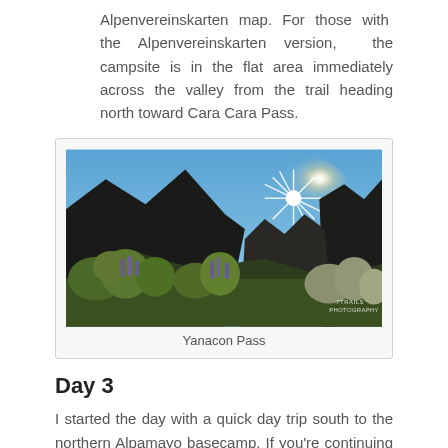Alpenvereinskarten map. For those with the Alpenvereinskarten version, the campsite is in the flat area immediately across the valley from the trail heading north toward Cara Cara Pass.
[Figure (photo): Landscape photo of Yanacon Pass showing mountain silhouettes against a blue sky with a bright sun starburst, and lush green and purple wildflowers in the foreground. Watermark reads '7TRAILS PHOTOGRAPHY' in lower right.]
Yanacon Pass
Day 3
I started the day with a quick day trip south to the northern Alpamayo basecamp. If you're continuing past the basecamp to the small laguna below Nevado Santa Cruz Chico, ignore the cairns on the